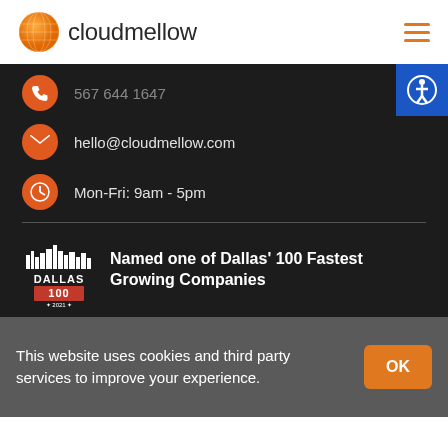cloudmellow
567 644 1647
hello@cloudmellow.com
Mon-Fri: 9am - 5pm
Named one of Dallas' 100 Fastest Growing Companies
This website uses cookies and third party services to improve your experience.
OK